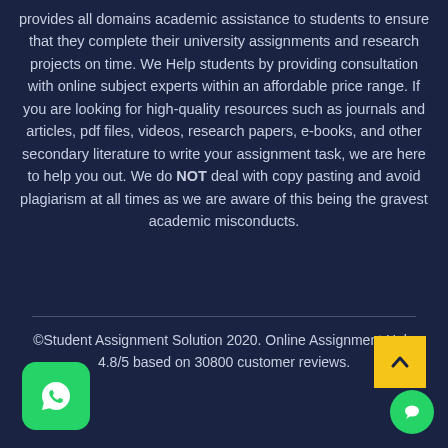provides all domains academic assistance to students to ensure that they complete their university assignments and research projects on time. We Help students by providing consultation with online subject experts within an affordable price range. If you are looking for high-quality resources such as journals and articles, pdf files, videos, research papers, e-books, and other secondary literature to write your assignment task, we are here to help you out. We do NOT deal with copy pasting and avoid plagiarism at all times as we are aware of this being the gravest academic misconducts.
©Student Assignment Solution 2020. Online Assignment Help 4.8/5 based on 30800 customer reviews.